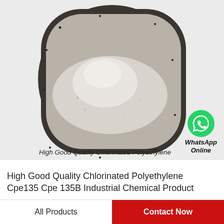[Figure (photo): A rounded square dark ceramic plate/bowl filled with white powder (Chlorinated Polyethylene CPE135), viewed from above on a white background. A WhatsApp icon with 'WhatsApp Online' label appears in the lower right of the image.]
High Good Quality Chlorinated Polyethylene
High Good Quality Chlorinated Polyethylene Cpe135 Cpe 135B Industrial Chemical Product
All Products
Contact Now